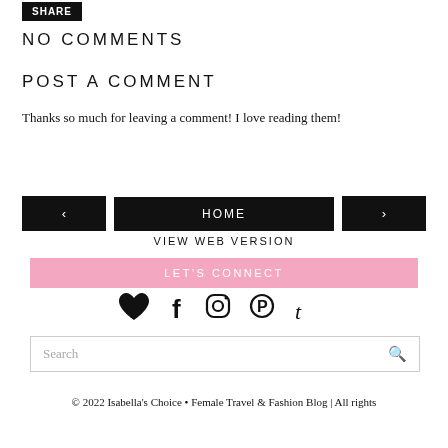SHARE
NO COMMENTS
POST A COMMENT
Thanks so much for leaving a comment! I love reading them!
‹  HOME  ›
VIEW WEB VERSION
LET'S CONNECT
[Figure (infographic): Social media icons: heart, Facebook, Instagram, Pinterest, Tumblr]
Search
© 2022 Isabella's Choice • Female Travel & Fashion Blog | All rights